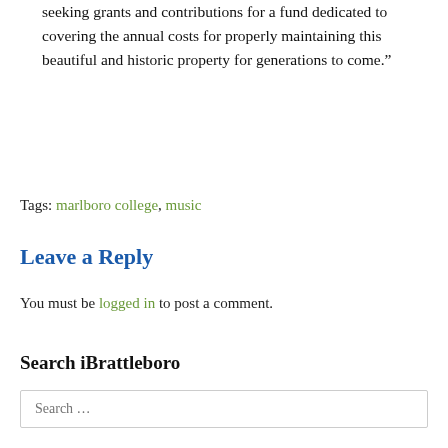seeking grants and contributions for a fund dedicated to covering the annual costs for properly maintaining this beautiful and historic property for generations to come.”
Tags: marlboro college, music
Leave a Reply
You must be logged in to post a comment.
Search iBrattleboro